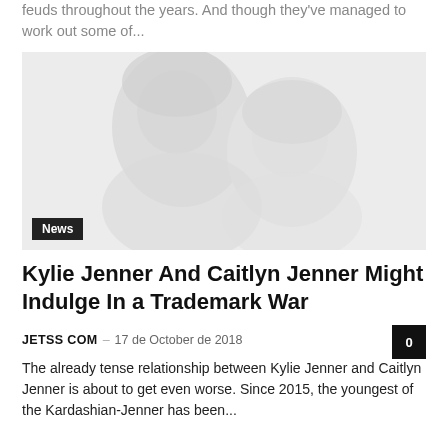feuds throughout the years. And though they've managed to work out some of...
[Figure (photo): Faded grayscale photo of two women, likely Kylie Jenner and Caitlyn Jenner, with a 'News' badge overlay in the bottom left corner.]
Kylie Jenner And Caitlyn Jenner Might Indulge In a Trademark War
JETSS COM – 17 de October de 2018
The already tense relationship between Kylie Jenner and Caitlyn Jenner is about to get even worse. Since 2015, the youngest of the Kardashian-Jenner has been...